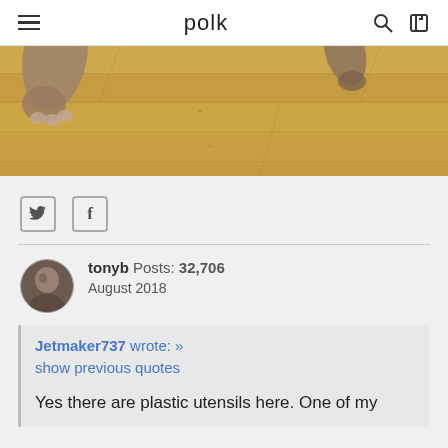polk
[Figure (photo): Photo of a dog's paws on a wooden floor, viewed from above]
Twitter and Facebook share icons
tonyb Posts: 32,706 August 2018
Jetmaker737 wrote: » show previous quotes
Yes there are plastic utensils here. One of my